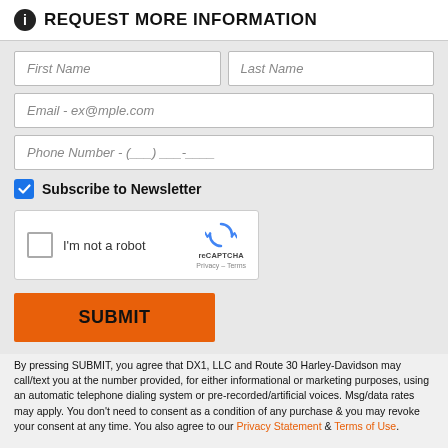REQUEST MORE INFORMATION
First Name
Last Name
Email - ex@mple.com
Phone Number - (___) ___-____
Subscribe to Newsletter
[Figure (other): reCAPTCHA widget with checkbox labeled 'I'm not a robot']
SUBMIT
By pressing SUBMIT, you agree that DX1, LLC and Route 30 Harley-Davidson may call/text you at the number provided, for either informational or marketing purposes, using an automatic telephone dialing system or pre-recorded/artificial voices. Msg/data rates may apply. You don't need to consent as a condition of any purchase & you may revoke your consent at any time. You also agree to our Privacy Statement & Terms of Use.